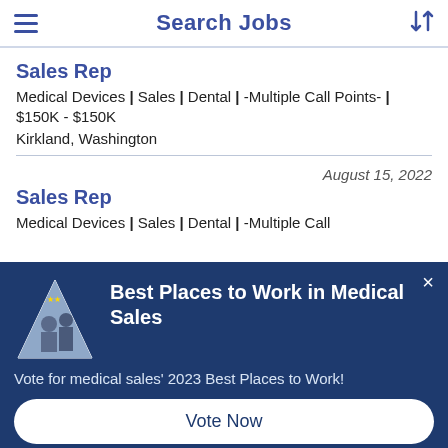Search Jobs
Sales Rep
Medical Devices | Sales | Dental | -Multiple Call Points- | $150K - $150K
Kirkland, Washington
August 15, 2022
Sales Rep
Medical Devices | Sales | Dental | -Multiple Call
[Figure (illustration): Modal overlay with dark navy background showing Best Places to Work in Medical Sales promotion with triangle logo graphic, close button, subtext about voting for 2023 Best Places to Work, and a Vote Now button.]
Best Places to Work in Medical Sales
Vote for medical sales' 2023 Best Places to Work!
Vote Now